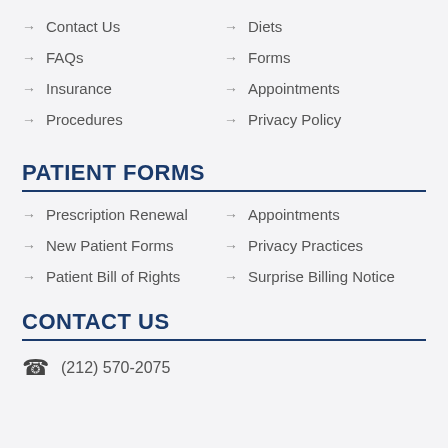Contact Us
Diets
FAQs
Forms
Insurance
Appointments
Procedures
Privacy Policy
PATIENT FORMS
Prescription Renewal
Appointments
New Patient Forms
Privacy Practices
Patient Bill of Rights
Surprise Billing Notice
CONTACT US
(212) 570-2075